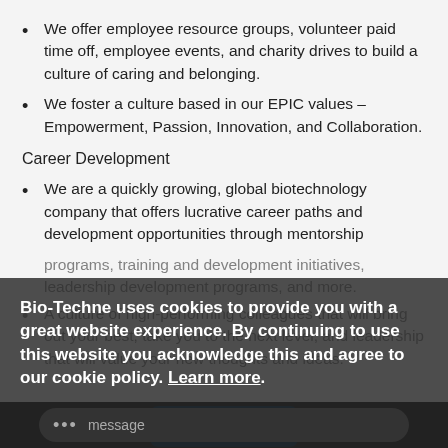We offer employee resource groups, volunteer paid time off, employee events, and charity drives to build a culture of caring and belonging.
We foster a culture based in our EPIC values – Empowerment, Passion, Innovation, and Collaboration.
Career Development
We are a quickly growing, global biotechnology company that offers lucrative career paths and development opportunities through mentorship programs, training and development initiatives, leadership development programs, and more.
A culture of high-performing colleagues that will bring out your best, take you to the next level, and leadership that will value your new thoughts and ideas.
Bio-Techne uses cookies to provide you with a great website experience. By continuing to use this website you acknowledge this and agree to our cookie policy. Learn more.